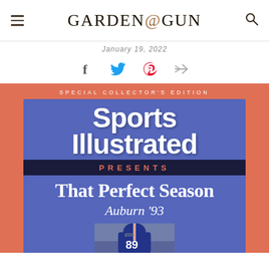Garden & Gun
January 19, 2022
[Figure (other): Social share icons: Facebook, Twitter, Pinterest, Share/send]
[Figure (other): Sports Illustrated Presents: That Perfect Season Auburn '93 — Special Collector's Edition magazine cover with football player in Auburn uniform helmet, blue and orange background, coral/salmon outer frame.]